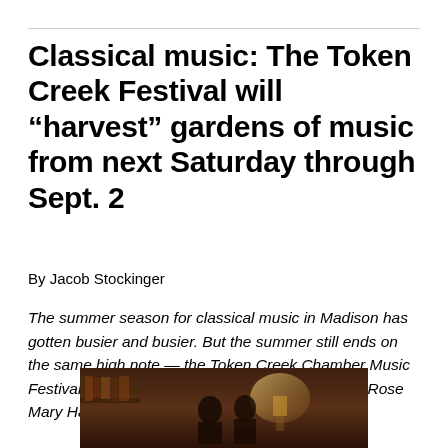Classical music: The Token Creek Festival will “harvest” gardens of music from next Saturday through Sept. 2
By Jacob Stockinger
The summer season for classical music in Madison has gotten busier and busier. But the summer still ends on the same high note — the Token Creek Chamber Music Festival that is co-directed by John Harbison and Rose Mary Harbison.
[Figure (photo): Partial photo visible at bottom of page showing people in a dimly lit, warmly decorated room with bookshelves and lamp]